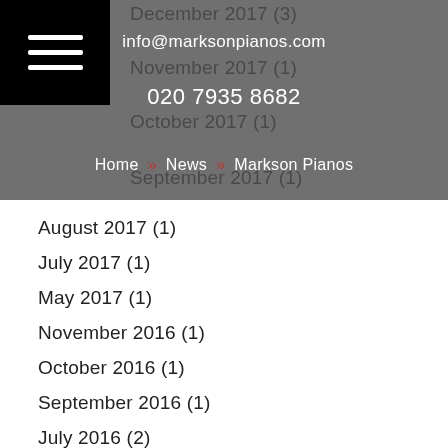info@marksonpianos.com
020 7935 8682
Home » News » Markson Pianos
December 2017 (3)
November 2017 (1)
October 2017 (1)
September 2017 (1)
August 2017 (1)
July 2017 (1)
May 2017 (1)
November 2016 (1)
October 2016 (1)
September 2016 (1)
July 2016 (2)
June 2016 (3)
May 2016 (5)
April 2016 (5)
March 2016 (5)
February 2016 (3)
September 2015 (1)